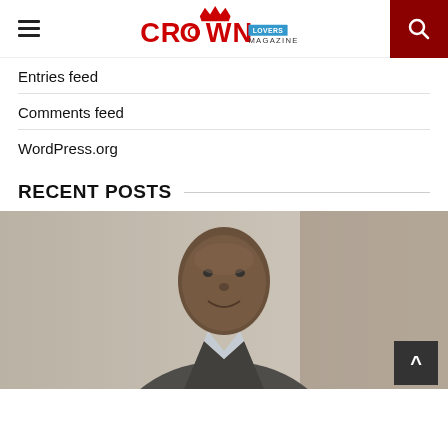Crown Lovers Magazine
Entries feed
Comments feed
WordPress.org
RECENT POSTS
[Figure (photo): Portrait photo of a man in a suit smiling, photographed against a blurred indoor background]